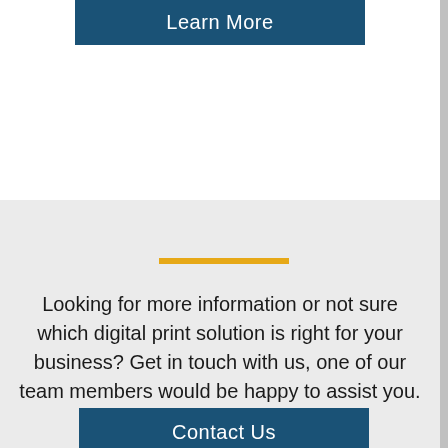[Figure (other): Button labeled 'Learn More' with dark teal background and white text]
Looking for more information or not sure which digital print solution is right for your business? Get in touch with us, one of our team members would be happy to assist you.
[Figure (other): Button labeled 'Contact Us' with dark teal background and white text]